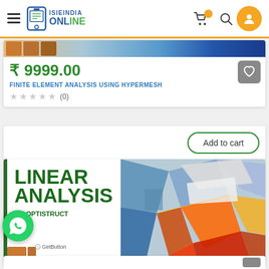[Figure (screenshot): ISIEINDIA ONLINE website header with hamburger menu, logo, cart, search, and user icon]
₹ 9999.00
FINITE ELEMENT ANALYSIS USING HYPERMESH
(0)
Add to cart
[Figure (illustration): LINEAR ANALYSIS USING OPTISTRUCT course banner with FEA mesh image]